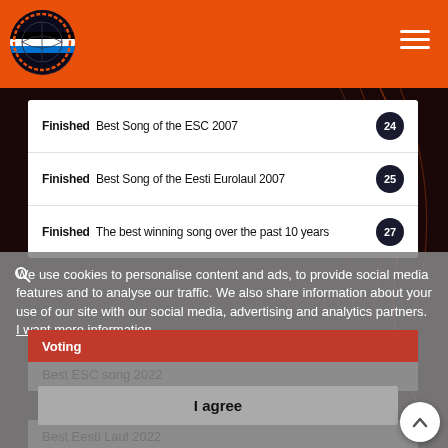Eurovision voting website header with logo and hamburger menu
Finished  Best Song of the ESC 2007  24
Finished  Best Song of the Eesti Eurolaul 2007  25
Finished  The best winning song over the past 10 years  27
We use cookies to personalise content and ads, to provide social media features and to analyse our traffic. We also share information about your use of our site with our social media, advertising and analytics partners.  I want more information
Voting
Best ESC song 2022
I agree
Best Eesti Laul 2022